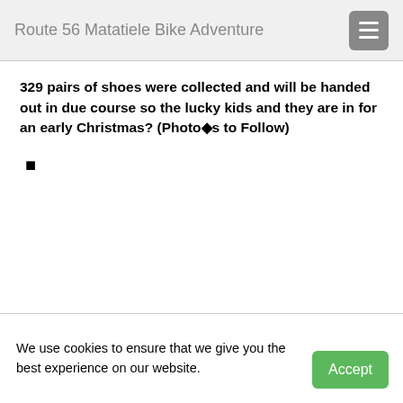Route 56 Matatiele Bike Adventure
329 pairs of shoes were collected and will be handed out in due course so the lucky kids and they are in for an early Christmas? (Photo◆s to Follow)
■
We use cookies to ensure that we give you the best experience on our website.